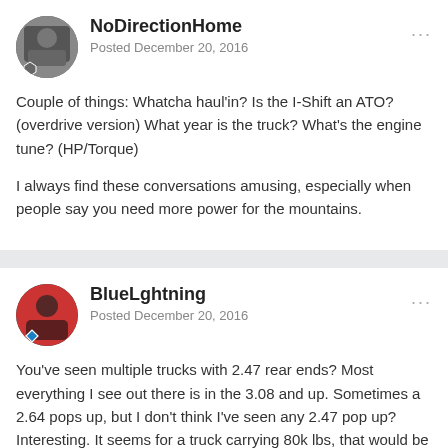[Figure (photo): Avatar thumbnail for user NoDirectionHome, small grayscale profile image with hexagon badge]
NoDirectionHome
Posted December 20, 2016
Couple of things: Whatcha haul'in? Is the I-Shift an ATO? (overdrive version) What year is the truck? What's the engine tune? (HP/Torque)
I always find these conversations amusing, especially when people say you need more power for the mountains.
[Figure (photo): Avatar thumbnail for user BlueLghtning, circular profile image with teal diamond badge]
BlueLghtning
Posted December 20, 2016
You've seen multiple trucks with 2.47 rear ends? Most everything I see out there is in the 3.08 and up. Sometimes a 2.64 pops up, but I don't think I've seen any 2.47 pop up? Interesting. It seems for a truck carrying 80k lbs, that would be a high ratio, but maybe not too bad for the weights most carry here?